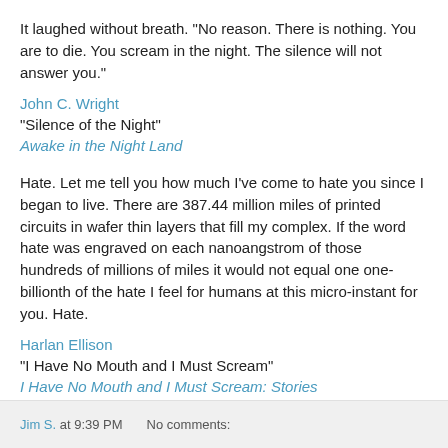It laughed without breath. "No reason. There is nothing. You are to die. You scream in the night. The silence will not answer you."
John C. Wright
"Silence of the Night"
Awake in the Night Land
Hate. Let me tell you how much I've come to hate you since I began to live. There are 387.44 million miles of printed circuits in wafer thin layers that fill my complex. If the word hate was engraved on each nanoangstrom of those hundreds of millions of miles it would not equal one one-billionth of the hate I feel for humans at this micro-instant for you. Hate.
Harlan Ellison
"I Have No Mouth and I Must Scream"
I Have No Mouth and I Must Scream: Stories
Jim S. at 9:39 PM    No comments: